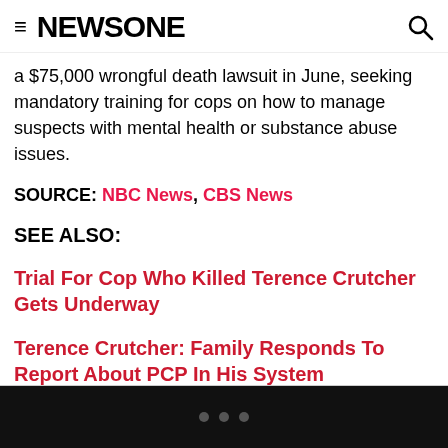≡ NEWSONE 🔍
a $75,000 wrongful death lawsuit in June, seeking mandatory training for cops on how to manage suspects with mental health or substance abuse issues.
SOURCE: NBC News, CBS News
SEE ALSO:
Trial For Cop Who Killed Terence Crutcher Gets Underway
Terence Crutcher: Family Responds To Report About PCP In His System